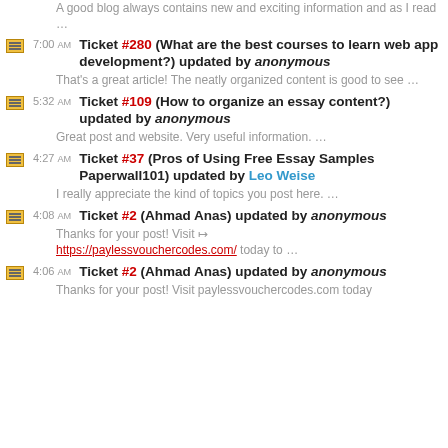A good blog always contains new and exciting information and as I read …
7:00 AM Ticket #280 (What are the best courses to learn web app development?) updated by anonymous
That's a great article! The neatly organized content is good to see …
5:32 AM Ticket #109 (How to organize an essay content?) updated by anonymous
Great post and website. Very useful information. …
4:27 AM Ticket #37 (Pros of Using Free Essay Samples Paperwall101) updated by Leo Weise
I really appreciate the kind of topics you post here. …
4:08 AM Ticket #2 (Ahmad Anas) updated by anonymous
Thanks for your post! Visit https://paylessvouchercodes.com/ today to …
4:06 AM Ticket #2 (Ahmad Anas) updated by anonymous
Thanks for your post! Visit paylessvouchercodes.com today